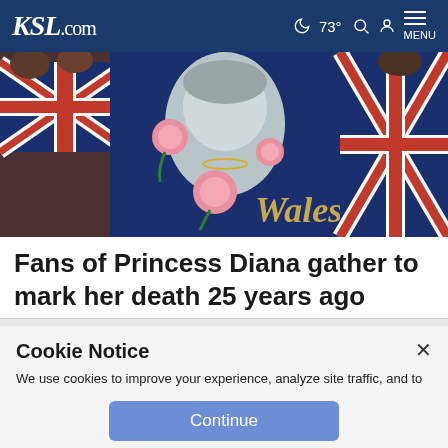KSL.com — 73° Search Account Menu
[Figure (photo): Fans holding Princess Diana memorial flags including a Union Jack with Diana's portrait and roses, with 'Wales' written in gold script]
Fans of Princess Diana gather to mark her death 25 years ago
Cookie Notice
We use cookies to improve your experience, analyze site traffic, and to personalize content and ads. By continuing to use our site, you consent to our use of cookies. Please visit our Terms of Use and  Privacy Policy for more information.
Continue